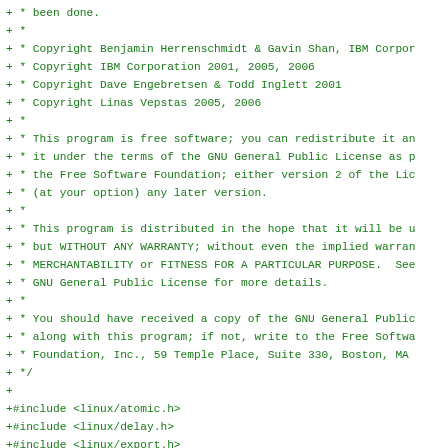+ * been done.
+ *
+ * Copyright Benjamin Herrenschmidt & Gavin Shan, IBM Corpor
+ * Copyright IBM Corporation 2001, 2005, 2006
+ * Copyright Dave Engebretsen & Todd Inglett 2001
+ * Copyright Linas Vepstas 2005, 2006
+ *
+ * This program is free software; you can redistribute it an
+ * it under the terms of the GNU General Public License as p
+ * the Free Software Foundation; either version 2 of the Lic
+ * (at your option) any later version.
+ *
+ * This program is distributed in the hope that it will be u
+ * but WITHOUT ANY WARRANTY; without even the implied warran
+ * MERCHANTABILITY or FITNESS FOR A PARTICULAR PURPOSE.  See
+ * GNU General Public License for more details.
+ *
+ * You should have received a copy of the GNU General Public
+ * along with this program; if not, write to the Free Softwa
+ * Foundation, Inc., 59 Temple Place, Suite 330, Boston, MA
+ */
+
+#include <linux/atomic.h>
+#include <linux/delay.h>
+#include <linux/export.h>